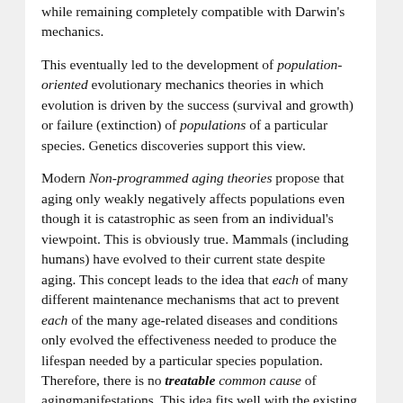while remaining completely compatible with Darwin's mechanics.
This eventually led to the development of population-oriented evolutionary mechanics theories in which evolution is driven by the success (survival and growth) or failure (extinction) of populations of a particular species. Genetics discoveries support this view.
Modern Non-programmed aging theories propose that aging only weakly negatively affects populations even though it is catastrophic as seen from an individual's viewpoint. This is obviously true. Mammals (including humans) have evolved to their current state despite aging. This concept leads to the idea that each of many different maintenance mechanisms that act to prevent each of the many age-related diseases and conditions only evolved the effectiveness needed to produce the lifespan needed by a particular species population. Therefore, there is no treatable common cause of agingmanifestations. This idea fits well with the existing medical paradigm.